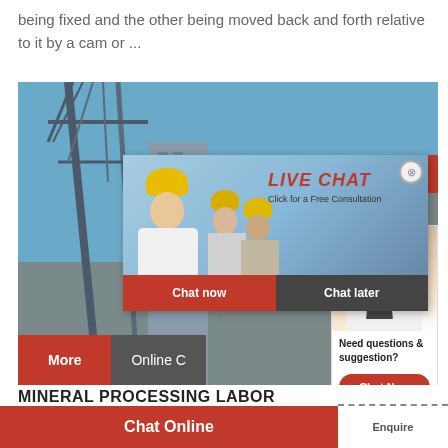being fixed and the other being moved back and forth relative to it by a cam or ...
[Figure (screenshot): Industrial/mining site with crane infrastructure and blue sky background, overlaid with a live chat popup showing workers in hard hats, 'LIVE CHAT' title in red, 'Click for a Free Consultation' subtitle, Chat now and Chat later buttons, and a customer service agent panel on the right side]
MINERAL PROCESSING LABOR
Chat Online